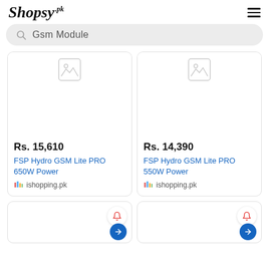Shopsy.pk
Gsm Module
[Figure (other): Product card: image placeholder, price Rs. 15,610, title FSP Hydro GSM Lite PRO 650W Power, seller ishopping.pk]
[Figure (other): Product card: image placeholder, price Rs. 14,390, title FSP Hydro GSM Lite PRO 550W Power, seller ishopping.pk]
[Figure (other): Partial product card with bell notification icon and arrow button]
[Figure (other): Partial product card with bell notification icon and arrow button]